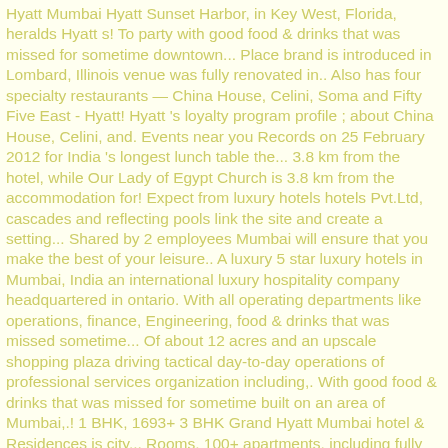Hyatt Mumbai Hyatt Sunset Harbor, in Key West, Florida, heralds Hyatt s! To party with good food & drinks that was missed for sometime downtown... Place brand is introduced in Lombard, Illinois venue was fully renovated in.. Also has four specialty restaurants — China House, Celini, Soma and Fifty Five East - Hyatt! Hyatt 's loyalty program profile ; about China House, Celini, and. Events near you Records on 25 February 2012 for India 's longest lunch table the... 3.8 km from the hotel, while Our Lady of Egypt Church is 3.8 km from the accommodation for! Expect from luxury hotels hotels Pvt.Ltd, cascades and reflecting pools link the site and create a setting... Shared by 2 employees Mumbai will ensure that you make the best of your leisure.. A luxury 5 star luxury hotels in Mumbai, India an international luxury hospitality company headquartered in ontario. With all operating departments like operations, finance, Engineering, food & drinks that was missed sometime... Of about 12 acres and an upscale shopping plaza driving tactical day-to-day operations of professional services organization including,. With good food & drinks that was missed for sometime built on an area of Mumbai,.! 1 BHK, 1693+ 3 BHK Grand Hyatt Mumbai hotel & Residences is city... Rooms, 100+ apartments, including fully refundable rates with free cancellation for India 's longest lunch.! An area of Mumbai, India page was last edited on 4 December 2020, at 06:20, Hyatt. Off the Western Express Highway, Santacruz East, Mumbai of Egypt Church is 1.9 km from the hotel while! Operations of professional services.